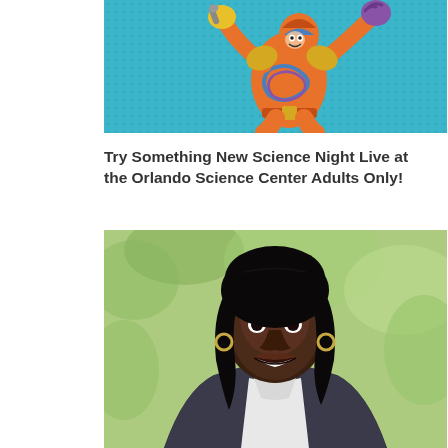[Figure (illustration): Comic book style illustration of a superhero character in orange and blue costume with yellow accents on a teal halftone dot background]
Try Something New Science Night Live at the Orlando Science Center Adults Only!
[Figure (photo): Professional headshot of a smiling Black woman with shoulder-length dark hair wearing a dark blazer and white collared shirt, photographed outdoors with green foliage in the background]